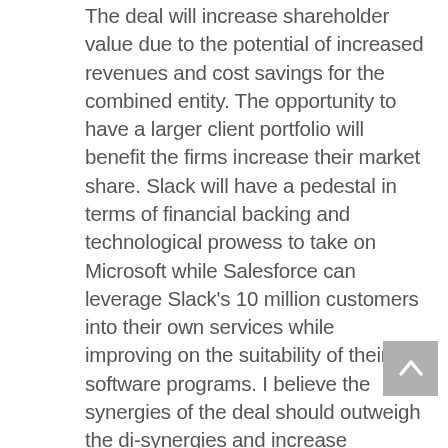The deal will increase shareholder value due to the potential of increased revenues and cost savings for the combined entity. The opportunity to have a larger client portfolio will benefit the firms increase their market share. Slack will have a pedestal in terms of financial backing and technological prowess to take on Microsoft while Salesforce can leverage Slack's 10 million customers into their own services while improving on the suitability of their software programs. I believe the synergies of the deal should outweigh the di-synergies and increase shareholder value in the long term.